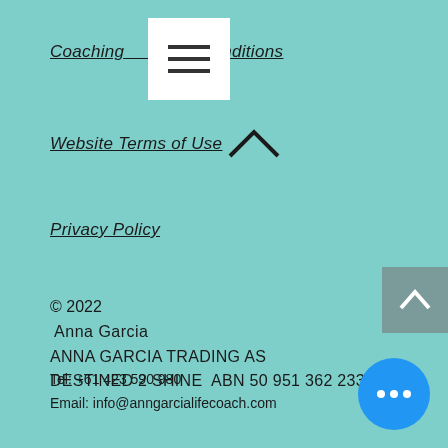[Figure (other): Hamburger menu icon — three horizontal bars on white square background]
Coaching Terms & Conditions
Website Terms of Use
Privacy Policy
© 2022
Anna Garcia
ANNA GARCIA TRADING AS
DESTINED 2 SHINE  ABN 50 951 362 233
Tel: +61 423 590 980
Email: info@anngarcialifecoach.com
[Figure (other): Grey square back-to-top button with white caret/chevron pointing up]
[Figure (other): Blue circular chat/more options button with three white dots]